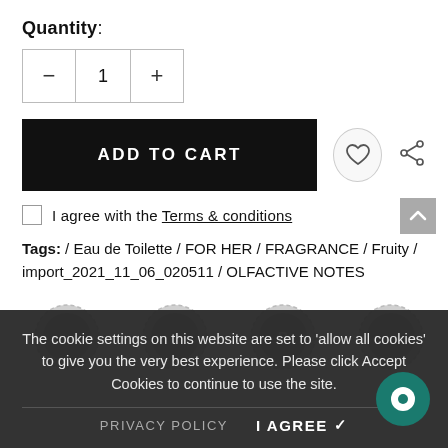Quantity:
[Figure (screenshot): Quantity selector with minus button, number 1, and plus button in a bordered box]
[Figure (screenshot): ADD TO CART black button with heart icon and share icon]
I agree with the Terms & conditions
Tags: / Eau de Toilette / FOR HER / FRAGRANCE / Fruity / import_2021_11_06_020511 / OLFACTIVE NOTES
[Figure (illustration): Four circular badge/seal icons in a row]
The cookie settings on this website are set to 'allow all cookies' to give you the very best experience. Please click Accept Cookies to continue to use the site.
PRIVACY POLICY   I AGREE ✔